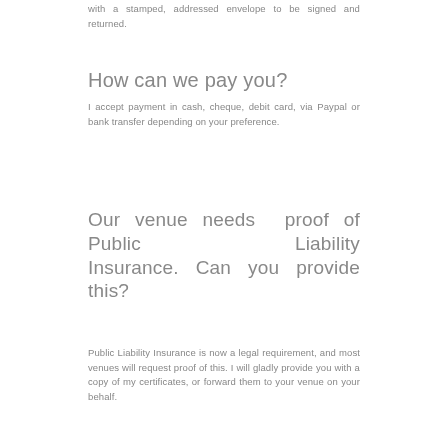with a stamped, addressed envelope to be signed and returned.
How can we pay you?
I accept payment in cash, cheque, debit card, via Paypal or bank transfer depending on your preference.
Our venue needs proof of Public Liability Insurance. Can you provide this?
Public Liability Insurance is now a legal requirement, and most venues will request proof of this. I will gladly provide you with a copy of my certificates, or forward them to your venue on your behalf.